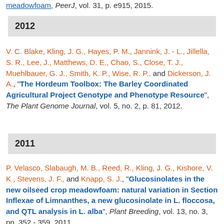meadowfoam, PeerJ, vol. 31, p. e915, 2015.
2012
V. C. Blake, Kling, J. G., Hayes, P. M., Jannink, J. - L., Jillella, S. R., Lee, J., Matthews, D. E., Chao, S., Close, T. J., Muehlbauer, G. J., Smith, K. P., Wise, R. P., and Dickerson, J. A., "The Hordeum Toolbox: The Barley Coordinated Agricultural Project Genotype and Phenotype Resource", The Plant Genome Journal, vol. 5, no. 2, p. 81, 2012.
2011
P. Velasco, Slabaugh, M. B., Reed, R., Kling, J. G., Kishore, V. K., Stevens, J. F., and Knapp, S. J., "Glucosinolates in the new oilseed crop meadowfoam: natural variation in Section Inflexae of Limnanthes, a new glucosinolate in L. floccosa, and QTL analysis in L. alba", Plant Breeding, vol. 13, no. 3, pp. 352 - 359, 2011.